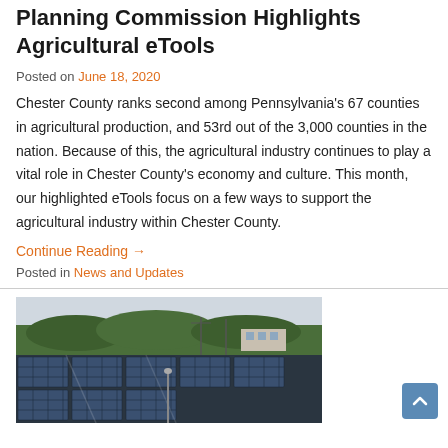Planning Commission Highlights Agricultural eTools
Posted on June 18, 2020
Chester County ranks second among Pennsylvania's 67 counties in agricultural production, and 53rd out of the 3,000 counties in the nation. Because of this, the agricultural industry continues to play a vital role in Chester County's economy and culture. This month, our highlighted eTools focus on a few ways to support the agricultural industry within Chester County.
Continue Reading →
Posted in News and Updates
[Figure (photo): Aerial view of solar panels in a parking lot or field with green forested hills and a building visible in the background under an overcast sky.]